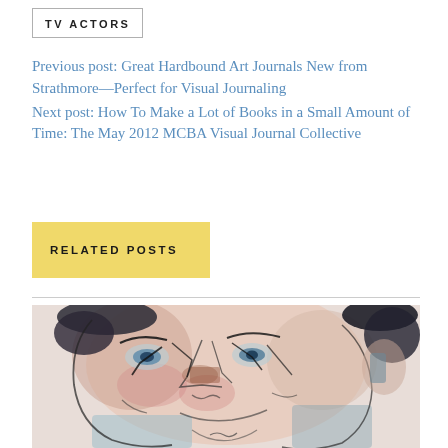TV ACTORS
Previous post: Great Hardbound Art Journals New from Strathmore—Perfect for Visual Journaling
Next post: How To Make a Lot of Books in a Small Amount of Time: The May 2012 MCBA Visual Journal Collective
RELATED POSTS
[Figure (illustration): Watercolor and ink sketch illustration of a man's face, rendered in an expressive, loose style with visible pen strokes and washes of color including pinks, blues, and browns.]